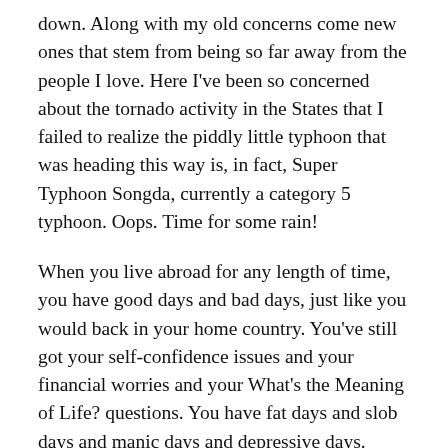down. Along with my old concerns come new ones that stem from being so far away from the people I love. Here I've been so concerned about the tornado activity in the States that I failed to realize the piddly little typhoon that was heading this way is, in fact, Super Typhoon Songda, currently a category 5 typhoon. Oops. Time for some rain!
When you live abroad for any length of time, you have good days and bad days, just like you would back in your home country. You've still got your self-confidence issues and your financial worries and your What's the Meaning of Life? questions. You have fat days and slob days and manic days and depressive days.
Living abroad isn't an extended vacation. It's life in